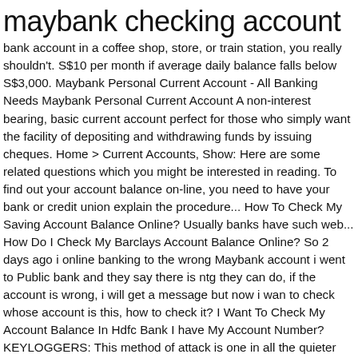maybank checking account
bank account in a coffee shop, store, or train station, you really shouldn't. S$10 per month if average daily balance falls below S$3,000. Maybank Personal Current Account - All Banking Needs Maybank Personal Current Account A non-interest bearing, basic current account perfect for those who simply want the facility of depositing and withdrawing funds by issuing cheques. Home > Current Accounts, Show: Here are some related questions which you might be interested in reading. To find out your account balance on-line, you need to have your bank or credit union explain the procedure... How To Check My Saving Account Balance Online? Usually banks have such web... How Do I Check My Barclays Account Balance Online? So 2 days ago i online banking to the wrong Maybank account i went to Public bank and they say there is ntg they can do, if the account is wrong, i will get a message but now i wan to check whose account is this, how to check it? I Want To Check My Account Balance In Hdfc Bank I have My Account Number? KEYLOGGERS: This method of attack is one in all the quieter ways a hacker can gain access to your checking account. Use a calculator, and if your bank pays interest on the money in your checking account, make sure you add it in when you receive it monthly or